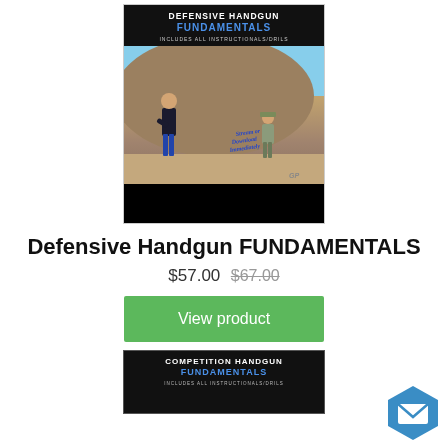[Figure (photo): Product image for Defensive Handgun FUNDAMENTALS course - shows two people at an outdoor shooting range with a dirt hill in the background. Text overlay reads 'DEFENSIVE HANDGUN FUNDAMENTALS - INCLUDES ALL INSTRUCTIONALS/DRILS - Stream or Download Immediately']
Defensive Handgun FUNDAMENTALS
$57.00  $67.00
View product
[Figure (photo): Product image for Competition Handgun FUNDAMENTALS course - black background with white and blue text reading 'COMPETITION HANDGUN FUNDAMENTALS - INCLUDES ALL INSTRUCTIONALS/DRILS']
[Figure (logo): Email/contact badge icon - blue hexagon shape with envelope/mail icon inside]